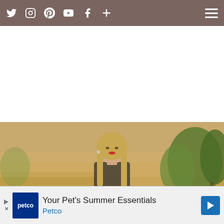Social media navigation bar with Twitter, Instagram, Pinterest, YouTube, Facebook, and plus icons, plus hamburger menu
[Figure (photo): Portrait photo of a young blonde woman with red lips, standing outdoors in a field with golden grass and green trees in the background. The word ABOUT appears in large bold white letters overlaid on a semi-transparent brownish-red banner at the bottom of the image.]
Close X
Your Pet's Summer Essentials
Petco